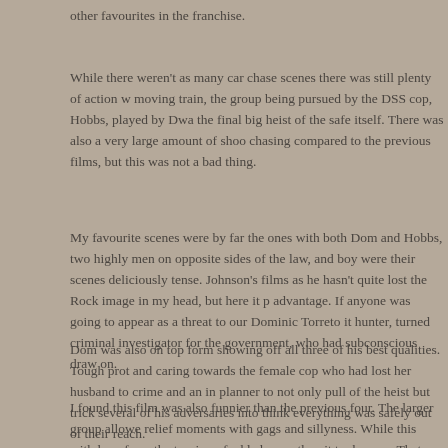other favourites in the franchise.
While there weren't as many car chase scenes there was still plenty of action w moving train, the group being pursued by the DSS cop, Hobbs, played by Dwa the final big heist of the safe itself. There was also a very large amount of shoo chasing compared to the previous films, but this was not a bad thing.
My favourite scenes were by far the ones with both Dom and Hobbs, two highly men on opposite sides of the law, and boy were their scenes deliciously tense. Johnson's films as he hasn't quite lost the Rock image in my head, but here it p advantage. If anyone was going to appear as a threat to our Dominic Torreto it hunter, turned criminal investigator for the government, who had subconscious draw on.
Dom was also on top form showing off all three of his best qualities. Tough prot and caring towards the female cop who had lost her husband to crime and an in planner to not only pull of the heist but trick several of his adversaries into think everything was safely out of their reach.
I found this film was also funnier than the previous four. The larger group allowe relief moments with gags and sillyness. While this withdrew from the tension of added more than it took away. That 'team working together' feel that was in the